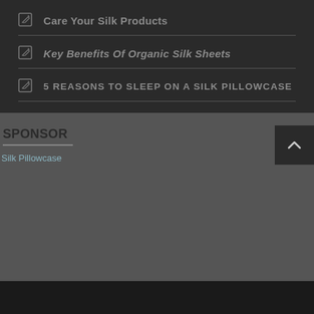Care Your Silk Products
Key Benefits Of Organic Silk Sheets
5 REASONS TO SLEEP ON A SILK PILLOWCASE
SPONSOR
Silk Pillowcase
[Figure (other): Back to top arrow button]
© 2022 Silk Sheets – Your Guide To Silk Sheets. All Rights Reserved.